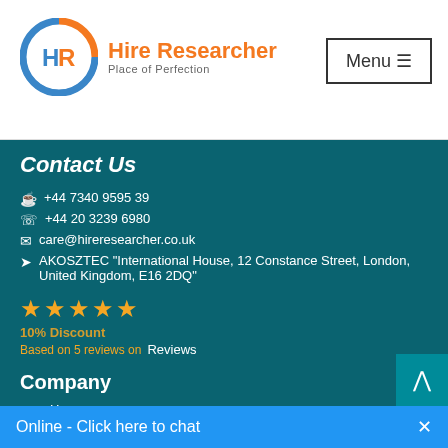Hire Researcher - Place of Perfection | Menu
[Figure (logo): Hire Researcher logo with orange and blue circular HR icon, orange text 'Hire Researcher' and grey subtitle 'Place of Perfection']
Contact Us
+44 7340 9595 39
+44 20 3239 6980
care@hireresearcher.co.uk
AKOSZTEC "International House, 12 Constance Street, London, United Kingdom, E16 2DQ"
[Figure (infographic): Five gold/orange star rating]
10% Discount
Based on 5 reviews on Reviews
Company
Home
About Us
FAQS
Our Process
Contact Us
Online - Click here to chat